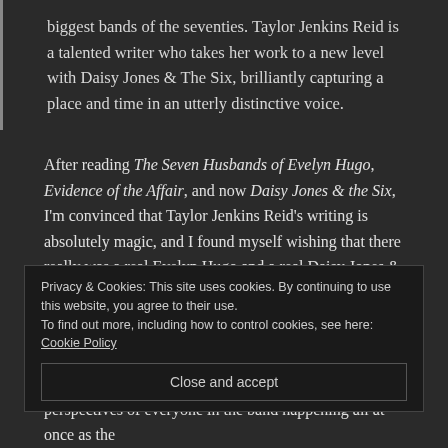biggest bands of the seventies. Taylor Jenkins Reid is a talented writer who takes her work to a new level with Daisy Jones & The Six, brilliantly capturing a place and time in an utterly distinctive voice.
After reading The Seven Husbands of Evelyn Hugo, Evidence of the Affair, and now Daisy Jones & the Six, I'm convinced that Taylor Jenkins Reid's writing is absolutely magic, and I found myself wishing that there really was a real Evelyn Hugo and a real Daisy Jones & the Six. I think in 2019 I'm going to read the rest of her backlist titles, because I think TJR is deserving of the buzz that's surrounded her over the last several years!
Privacy & Cookies: This site uses cookies. By continuing to use this website, you agree to their use. To find out more, including how to control cookies, see here: Cookie Policy
Close and accept
perspectives of everyone in the band happening all at once as the